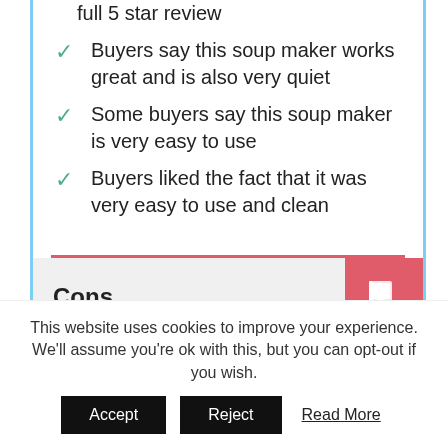full 5 star review
Buyers say this soup maker works great and is also very quiet
Some buyers say this soup maker is very easy to use
Buyers liked the fact that it was very easy to use and clean
Cons
This website uses cookies to improve your experience. We'll assume you're ok with this, but you can opt-out if you wish.
Accept   Reject   Read More